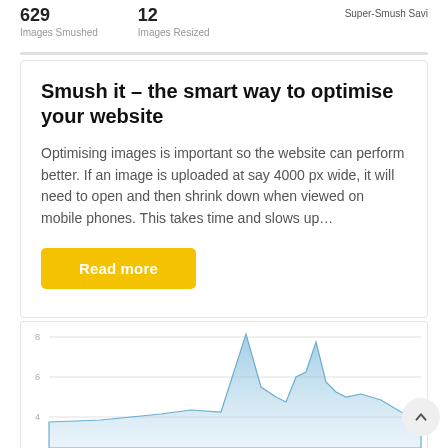629
Images Smushed
12
Images Resized
Super-Smush Savi
Smush it – the smart way to optimise your website
Optimising images is important so the website can perform better. If an image is uploaded at say 4000 px wide, it will need to open and then shrink down when viewed on mobile phones. This takes time and slows up…
Read more
[Figure (continuous-plot): Partial area/line chart showing website traffic or data over time, with a blue filled area and spikes visible. Y-axis shows values around 4, 6, 8. Only bottom portion visible.]